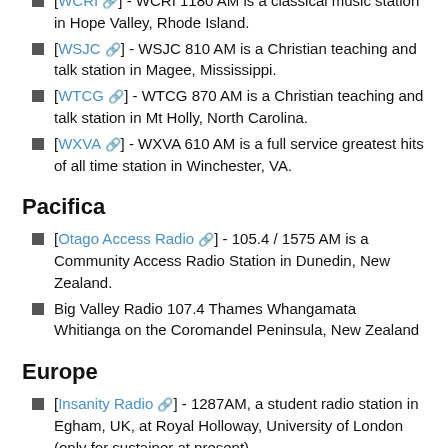[WCRI 🔗] - WCRI 1180 AM is a classical music station in Hope Valley, Rhode Island.
[WSJC 🔗] - WSJC 810 AM is a Christian teaching and talk station in Magee, Mississippi.
[WTCG 🔗] - WTCG 870 AM is a Christian teaching and talk station in Mt Holly, North Carolina.
[WXVA 🔗] - WXVA 610 AM is a full service greatest hits of all time station in Winchester, VA.
Pacifica
[Otago Access Radio 🔗] - 105.4 / 1575 AM is a Community Access Radio Station in Dunedin, New Zealand.
Big Valley Radio 107.4 Thames Whangamata Whitianga on the Coromandel Peninsula, New Zealand
Europe
[Insanity Radio 🔗] - 1287AM, a student radio station in Egham, UK, at Royal Holloway, University of London (only for sustainer at present)